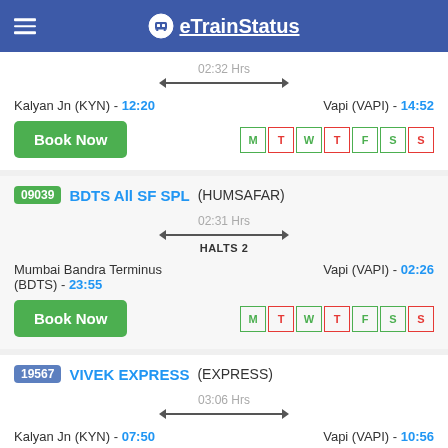eTrainStatus
02:32 Hrs
Kalyan Jn (KYN) - 12:20    Vapi (VAPI) - 14:52
Book Now   M T W T F S S
09039 BDTS All SF SPL (HUMSAFAR)
02:31 Hrs  HALTS 2
Mumbai Bandra Terminus (BDTS) - 23:55    Vapi (VAPI) - 02:26
Book Now   M T W T F S S
19567 VIVEK EXPRESS (EXPRESS)
03:06 Hrs
Kalyan Jn (KYN) - 07:50    Vapi (VAPI) - 10:56
Book Now   M T W T F S S
19015 SAURASHTRA EXP (EXPRESS)